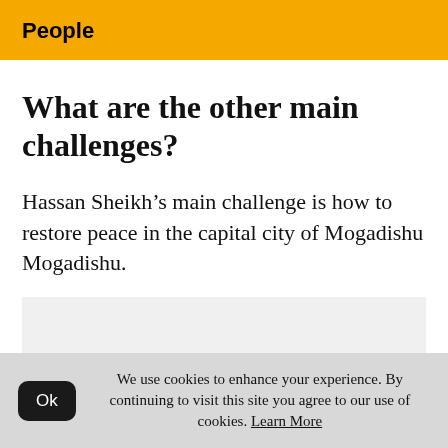People
What are the other main challenges?
Hassan Sheikh’s main challenge is how to restore peace in the capital city of Mogadishu Mogadishu.
We use cookies to enhance your experience. By continuing to visit this site you agree to our use of cookies. Learn More